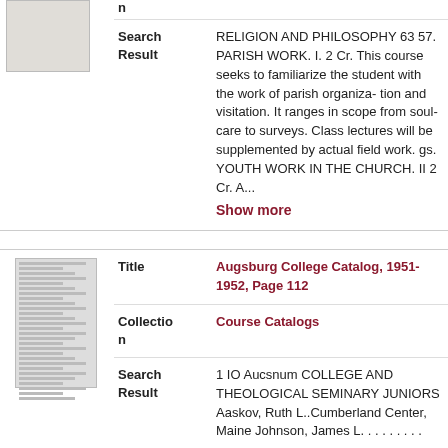n
Search Result
RELIGION AND PHILOSOPHY 63 57. PARISH WORK. I. 2 Cr. This course seeks to familiarize the student with the work of parish organiza- tion and visitation. It ranges in scope from soul-care to surveys. Class lectures will be supplemented by actual field work. gs. YOUTH WORK IN THE CHURCH. II 2 Cr. A...
Show more
[Figure (other): Thumbnail image of a catalog page showing dense text columns]
Title
Augsburg College Catalog, 1951-1952, Page 112
Collection
Course Catalogs
Search Result
1 IO Aucsnum COLLEGE AND THEOLOGICAL SEMINARY JUNIORS Aaskov, Ruth L..Cumberland Center, Maine Johnson, James L. . . . . . . . .